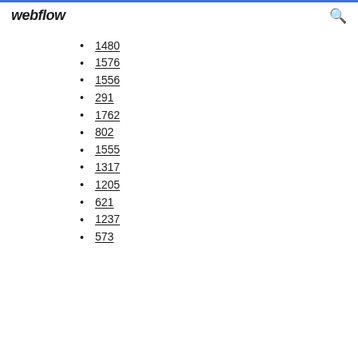webflow
1480
1576
1556
291
1762
802
1555
1317
1205
621
1237
573